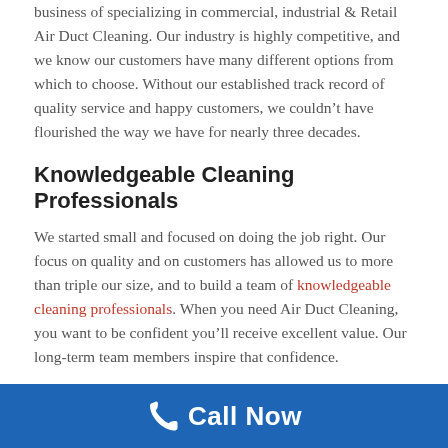business of specializing in commercial, industrial & Retail Air Duct Cleaning. Our industry is highly competitive, and we know our customers have many different options from which to choose. Without our established track record of quality service and happy customers, we couldn't have flourished the way we have for nearly three decades.
Knowledgeable Cleaning Professionals
We started small and focused on doing the job right. Our focus on quality and on customers has allowed us to more than triple our size, and to build a team of knowledgeable cleaning professionals. When you need Air Duct Cleaning, you want to be confident you'll receive excellent value. Our long-term team members inspire that confidence.
Call Now